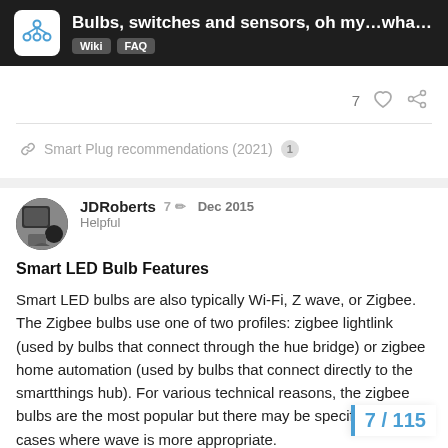Bulbs, switches and sensors, oh my…what t… | Wiki | FAQ
7 ♡ 🔗
🔗 Smart Plug recommendations (2021) 1
JDRoberts 7 ✏ Dec 2015
Helpful
Smart LED Bulb Features
Smart LED bulbs are also typically Wi-Fi, Z wave, or Zigbee. The Zigbee bulbs use one of two profiles: zigbee lightlink (used by bulbs that connect through the hue bridge) or zigbee home automation (used by bulbs that connect directly to the smartthings hub). For various technical reasons, the zigbee bulbs are the most popular but there may be specific use cases where wave is more appropriate.
7 / 115